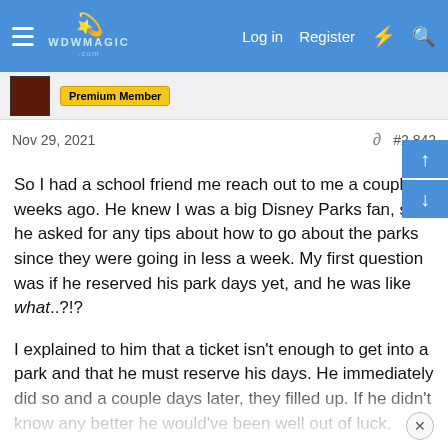WDWMAGIC | Log in | Register
Premium Member
Nov 29, 2021  #2,842
So I had a school friend me reach out to me a couple weeks ago. He knew I was a big Disney Parks fan, so he asked for any tips about how to go about the parks since they were going in less a week. My first question was if he reserved his park days yet, and he was like what..?!?

I explained to him that a ticket isn't enough to get into a park and that he must reserve his days. He immediately did so and a couple days later, they filled up. If he didn't know any better he would've been well out of luck.

Now just imagine this on a larger scale for those guests that aren't really in the know (like my friend). Come Christmas week, how many families will be turned around at the gates